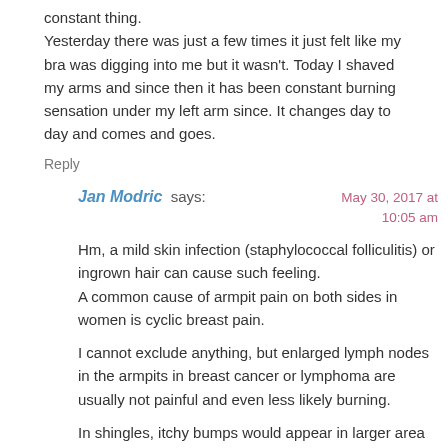constant thing.
Yesterday there was just a few times it just felt like my bra was digging into me but it wasn't. Today I shaved my arms and since then it has been constant burning sensation under my left arm since. It changes day to day and comes and goes.
Reply
Jan Modric says:
May 30, 2017 at 10:05 am
Hm, a mild skin infection (staphylococcal folliculitis) or ingrown hair can cause such feeling.
A common cause of armpit pain on both sides in women is cyclic breast pain.
I cannot exclude anything, but enlarged lymph nodes in the armpits in breast cancer or lymphoma are usually not painful and even less likely burning.
In shingles, itchy bumps would appear in larger area not limited to the armpit.